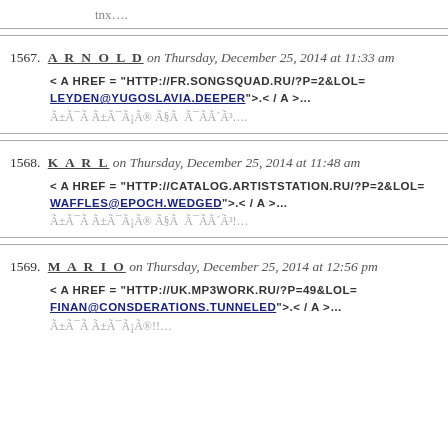tnx….
1567. ARNOLD on Thursday, December 25, 2014 at 11:33 am
< A HREF = “HTTP://FR.SONGSQUAD.RU/?P=2&LOL=LEYDEN@YUGOSLAVIA.DEEPER”>.< / A >…
Ã±Ã¯Ã Ã±Ã¯Ã¡Ã® Ã§Ã  Ã¯ÃÃ´Ã³….
1568. KARL on Thursday, December 25, 2014 at 11:48 am
< A HREF = “HTTP://CATALOG.ARTISTSTATION.RU/?P=2&LOL=WAFFLES@EPOCH.WEDGED”>.< / A >…
Ã±Ã¯Ã Ã±Ã¯Ã¡Ã® Ã§Ã  Ã¯ÃÃ´Ã³!…
1569. MARIO on Thursday, December 25, 2014 at 12:56 pm
< A HREF = “HTTP://UK.MP3WORK.RU/?P=49&LOL=FINAN@CONSDERATIONS.TUNNELED”>.< / A >…
Ã±Ã¯Ã Ã±Ã¯Ã¡Ã®!!…